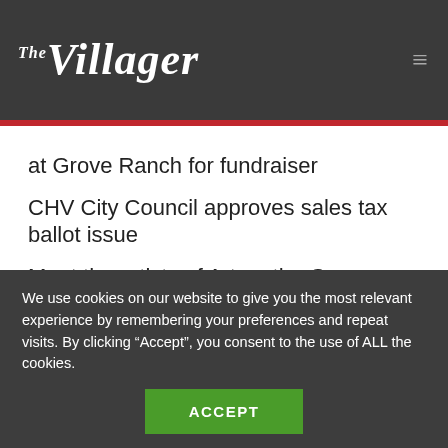The Villager
at Grove Ranch for fundraiser
CHV City Council approves sales tax ballot issue
Meet the artists of Art on the Green
State Sen. Kevin Priola switches from Republican to Democrat
We use cookies on our website to give you the most relevant experience by remembering your preferences and repeat visits. By clicking “Accept”, you consent to the use of ALL the cookies.